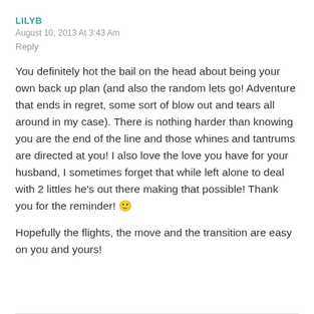LILYB
August 10, 2013 At 3:43 Am
Reply
You definitely hot the bail on the head about being your own back up plan (and also the random lets go! Adventure that ends in regret, some sort of blow out and tears all around in my case). There is nothing harder than knowing you are the end of the line and those whines and tantrums are directed at you! I also love the love you have for your husband, I sometimes forget that while left alone to deal with 2 littles he's out there making that possible! Thank you for the reminder! 🙂
Hopefully the flights, the move and the transition are easy on you and yours!